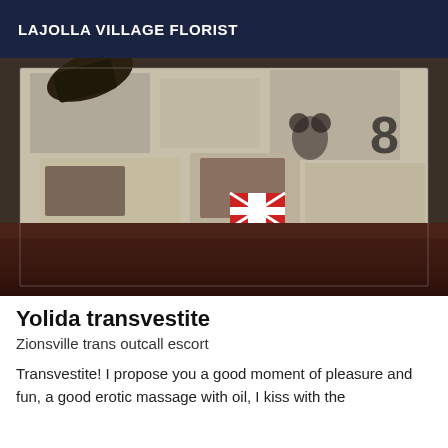LAJOLLA VILLAGE FLORIST
[Figure (photo): A dimly lit photo showing what appears to be a sofa or surface covered with newspapers and magazine clippings. A dark high-heeled shoe is visible at the top left. Various printed pages with images and text are spread across the surface. The lower portion fades into a dark reddish-brown background.]
Yolida transvestite
Zionsville trans outcall escort
Transvestite! I propose you a good moment of pleasure and fun, a good erotic massage with oil, I kiss with the